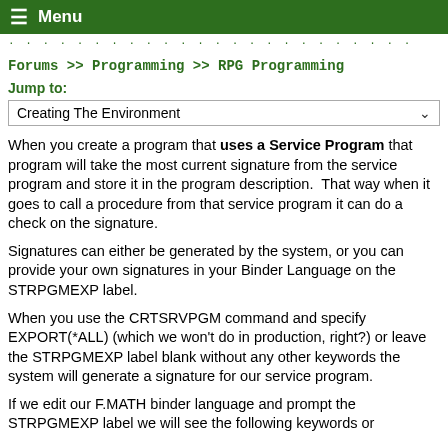Menu
... . . . . .
Forums >> Programming >> RPG Programming
Jump to:
Creating The Environment
When you create a program that uses a Service Program that program will take the most current signature from the service program and store it in the program description.  That way when it goes to call a procedure from that service program it can do a check on the signature.
Signatures can either be generated by the system, or you can provide your own signatures in your Binder Language on the STRPGMEXP label.
When you use the CRTSRVPGM command and specify EXPORT(*ALL) (which we won't do in production, right?) or leave the STRPGMEXP label blank without any other keywords the system will generate a signature for our service program.
If we edit our F.MATH binder language and prompt the STRPGMEXP label we will see the following keywords or